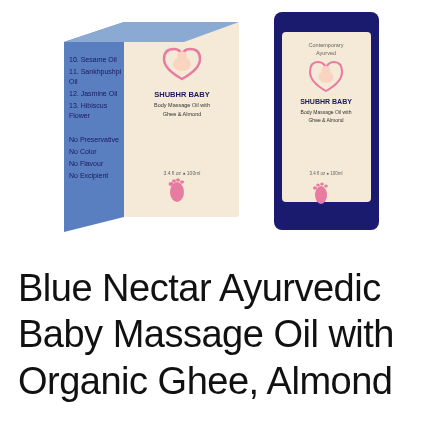[Figure (photo): Product image showing two views of Shubhr Baby Body Massage Oil packaging — a blue 3D carton box on the left showing ingredients list (Sesame Oil, Sankhpushpi Oil, Jasmine Oil, Hibiscus Flower, No Preservative, No Color, No Flavour, No Excipient) and a cream/beige front panel with baby illustration, SHUBHR BABY branding, 3.4 fl oz 100ml and pink footprint; and a dark blue bottle on the right showing the front label with Contemporary Ayurved, baby heart illustration, SHUBHR BABY Body Massage Oil with Ghee & Almond, 3.4 fl oz 100ml and pink footprint.]
Blue Nectar Ayurvedic Baby Massage Oil with Organic Ghee, Almond